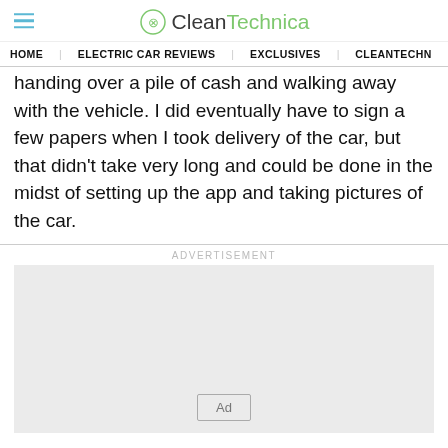CleanTechnica
HOME   ELECTRIC CAR REVIEWS   EXCLUSIVES   CLEANTECHN
handing over a pile of cash and walking away with the vehicle. I did eventually have to sign a few papers when I took delivery of the car, but that didn't take very long and could be done in the midst of setting up the app and taking pictures of the car.
[Figure (other): Advertisement placeholder box with 'Ad' badge label]